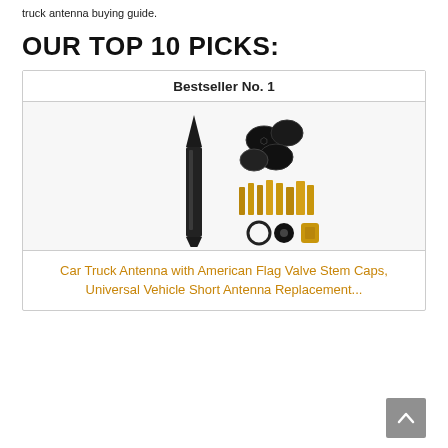truck antenna buying guide.
OUR TOP 10 PICKS:
Bestseller No. 1
[Figure (photo): Product photo of a bullet-style car antenna alongside valve stem caps and adapter components.]
Car Truck Antenna with American Flag Valve Stem Caps, Universal Vehicle Short Antenna Replacement...